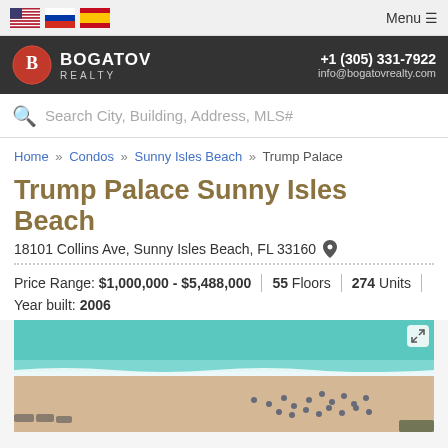Menu
[Figure (logo): Bogatov Realty logo with contact info: +1 (305) 331-7922, info@bogatovrealty.com]
Search City, Building, Address, MLS#
Home » Condos » Sunny Isles Beach » Trump Palace
Trump Palace Sunny Isles Beach
18101 Collins Ave, Sunny Isles Beach, FL 33160
Price Range: $1,000,000 - $5,488,000   55 Floors   274 Units
Year built: 2006
[Figure (photo): Aerial photo of beach with turquoise water, sandy shore, and beach chairs/umbrellas]